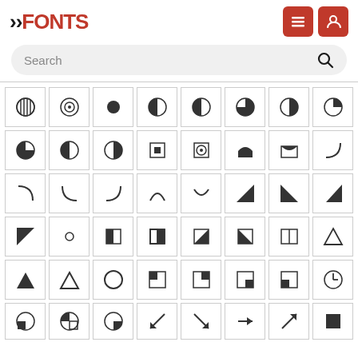[Figure (screenshot): FFonts website header with logo and menu/user icons]
[Figure (screenshot): Search bar with placeholder text 'Search' and search icon]
[Figure (screenshot): Grid of geometric shape and symbol font glyphs in bordered cells, showing various circle fills, quarter circles, triangles, rectangles, and other geometric shapes]